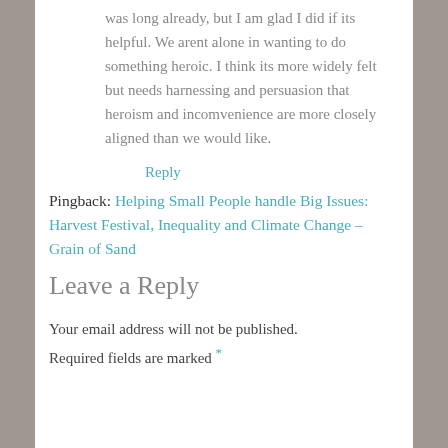was long already, but I am glad I did if its helpful. We arent alone in wanting to do something heroic. I think its more widely felt but needs harnessing and persuasion that heroism and incomvenience are more closely aligned than we would like.
Reply
Pingback: Helping Small People handle Big Issues: Harvest Festival, Inequality and Climate Change – Grain of Sand
Leave a Reply
Your email address will not be published. Required fields are marked *